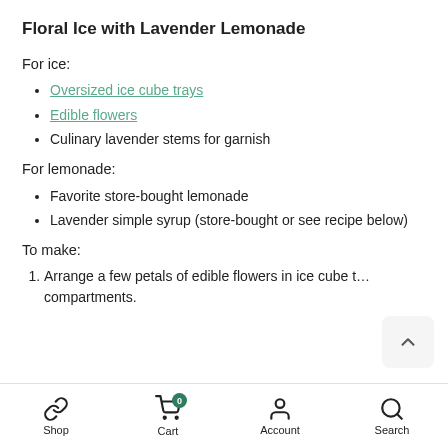Floral Ice with Lavender Lemonade
For ice:
Oversized ice cube trays
Edible flowers
Culinary lavender stems for garnish
For lemonade:
Favorite store-bought lemonade
Lavender simple syrup (store-bought or see recipe below)
To make:
Arrange a few petals of edible flowers in ice cube t… compartments.
Shop  Cart  Account  Search